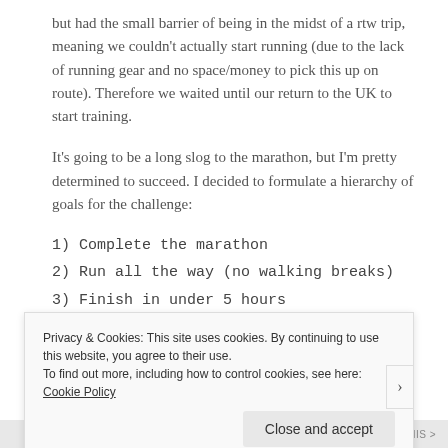but had the small barrier of being in the midst of a rtw trip, meaning we couldn't actually start running (due to the lack of running gear and no space/money to pick this up on route). Therefore we waited until our return to the UK to start training.
It's going to be a long slog to the marathon, but I'm pretty determined to succeed. I decided to formulate a hierarchy of goals for the challenge:
1) Complete the marathon
2) Run all the way (no walking breaks)
3) Finish in under 5 hours
[partial line cut off]
Privacy & Cookies: This site uses cookies. By continuing to use this website, you agree to their use.
To find out more, including how to control cookies, see here: Cookie Policy
Close and accept